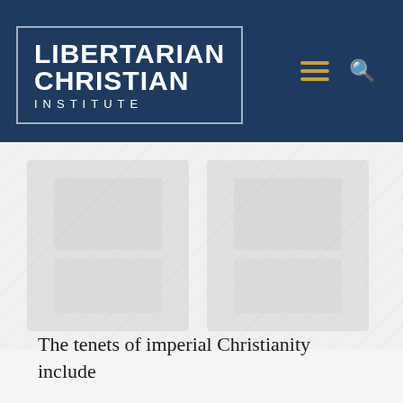[Figure (logo): Libertarian Christian Institute logo — white bold text on dark navy background with border box. Text reads LIBERTARIAN CHRISTIAN INSTITUTE with hamburger menu icon in gold and search icon in grey.]
[Figure (photo): Faded background image area, appears to be a lightly visible decorative or editorial image, mostly washed out.]
The tenets of imperial Christianity include